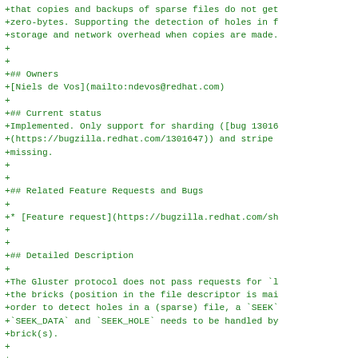+that copies and backups of sparse files do not get
+zero-bytes. Supporting the detection of holes in f
+storage and network overhead when copies are made.
+
+
+## Owners
+[Niels de Vos](mailto:ndevos@redhat.com)
+
+## Current status
+Implemented. Only support for sharding ([bug 13016
+(https://bugzilla.redhat.com/1301647)) and stripe
+missing.
+
+
+## Related Feature Requests and Bugs
+
+* [Feature request](https://bugzilla.redhat.com/sh
+
+
+## Detailed Description
+
+The Gluster protocol does not pass requests for `l
+the bricks (position in the file descriptor is mai
+order to detect holes in a (sparse) file, a `SEEK`
+`SEEK_DATA` and `SEEK_HOLE` needs to be handled by
+brick(s).
+
+
+## Benefit to GlusterFS
+